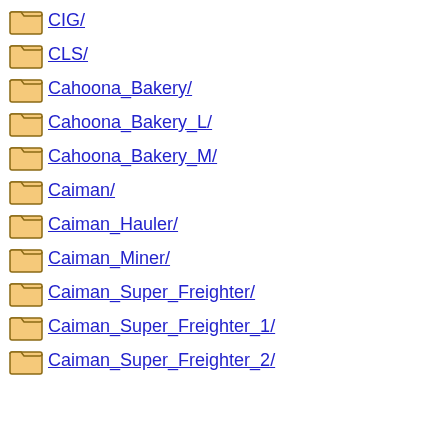CIG/
CLS/
Cahoona_Bakery/
Cahoona_Bakery_L/
Cahoona_Bakery_M/
Caiman/
Caiman_Hauler/
Caiman_Miner/
Caiman_Super_Freighter/
Caiman_Super_Freighter_1/
Caiman_Super_Freighter_2/